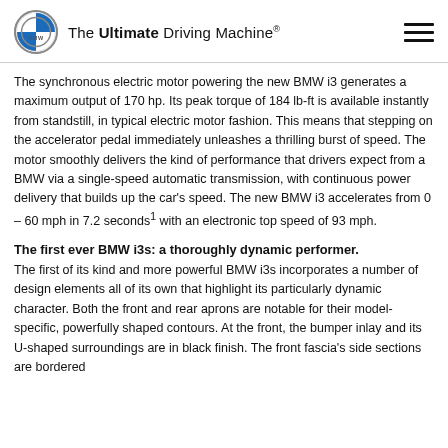The Ultimate Driving Machine®
The synchronous electric motor powering the new BMW i3 generates a maximum output of 170 hp. Its peak torque of 184 lb-ft is available instantly from standstill, in typical electric motor fashion. This means that stepping on the accelerator pedal immediately unleashes a thrilling burst of speed. The motor smoothly delivers the kind of performance that drivers expect from a BMW via a single-speed automatic transmission, with continuous power delivery that builds up the car's speed. The new BMW i3 accelerates from 0 – 60 mph in 7.2 seconds1 with an electronic top speed of 93 mph.
The first ever BMW i3s: a thoroughly dynamic performer.
The first of its kind and more powerful BMW i3s incorporates a number of design elements all of its own that highlight its particularly dynamic character. Both the front and rear aprons are notable for their model-specific, powerfully shaped contours. At the front, the bumper inlay and its U-shaped surroundings are in black finish. The front fascia's side sections are bordered